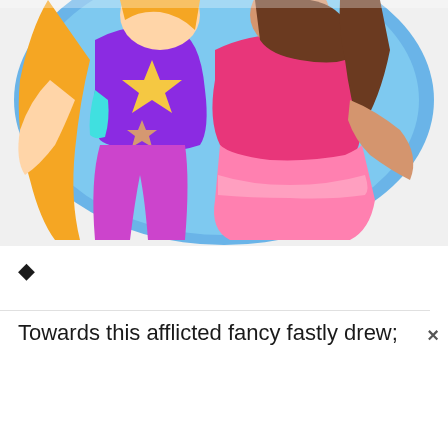[Figure (illustration): Cartoon illustration of two animated girls posing together in front of a blue circular background. Left girl has a long orange braid, wears a purple crop top with a yellow star and purple pants. Right girl has brown hair, wears a pink tank top and pink ruffled skirt.]
◆
Towards this afflicted fancy fastly drew;
×